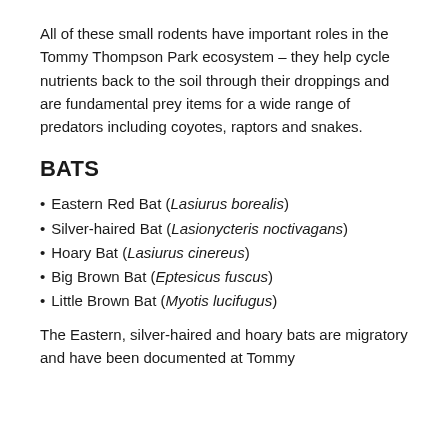All of these small rodents have important roles in the Tommy Thompson Park ecosystem – they help cycle nutrients back to the soil through their droppings and are fundamental prey items for a wide range of predators including coyotes, raptors and snakes.
BATS
Eastern Red Bat (Lasiurus borealis)
Silver-haired Bat (Lasionycteris noctivagans)
Hoary Bat (Lasiurus cinereus)
Big Brown Bat (Eptesicus fuscus)
Little Brown Bat (Myotis lucifugus)
The Eastern, silver-haired and hoary bats are migratory and have been documented at Tommy